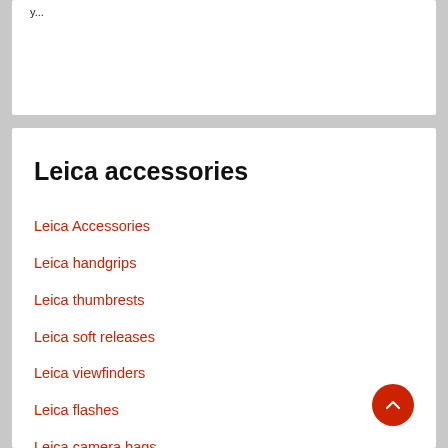y...
Leica accessories
Leica Accessories
Leica handgrips
Leica thumbrests
Leica soft releases
Leica viewfinders
Leica flashes
Leica camera bags
Leica hoods